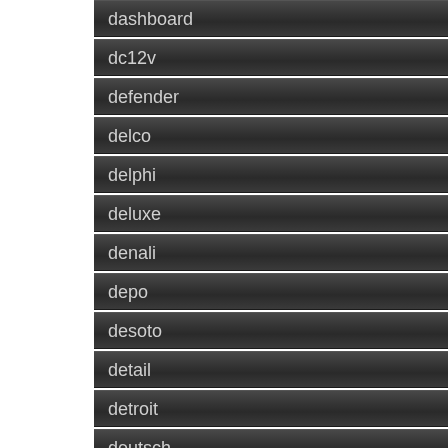dashboard
dc12v
defender
delco
delphi
deluxe
denali
depo
desoto
detail
detroit
deutsch